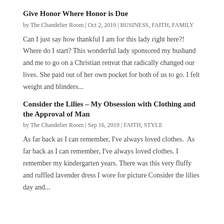Give Honor Where Honor is Due
by The Chandelier Room | Oct 2, 2019 | BUSINESS, FAITH, FAMILY
Can I just say how thankful I am for this lady right here?! Where do I start? This wonderful lady sponsored my husband and me to go on a Christian retreat that radically changed our lives. She paid out of her own pocket for both of us to go. I felt weight and blinders...
Consider the Lilies – My Obsession with Clothing and the Approval of Man
by The Chandelier Room | Sep 16, 2019 | FAITH, STYLE
As far back as I can remember, I've always loved clothes.  As far back as I can remember, I've always loved clothes. I remember my kindergarten years. There was this very fluffy and ruffled lavender dress I wore for picture Consider the lilies day and...